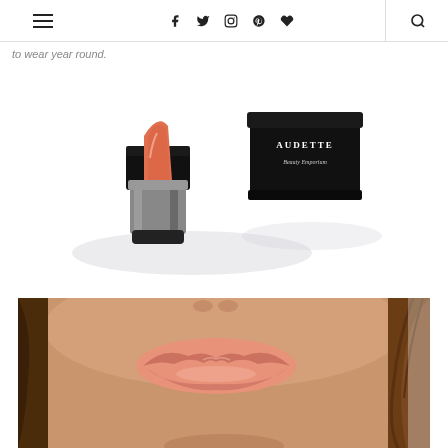Navigation bar with hamburger menu, social icons (Facebook, Twitter, Instagram, Pinterest, Heart), and search icon
to wear year round.
[Figure (photo): Audette Beauty Emporium lipstick tube open showing coral/peach colored lipstick, with the black cap placed beside it on a white background]
[Figure (photo): Close-up of a woman's lips wearing a coral/peach nude lipstick, with long brown hair visible]